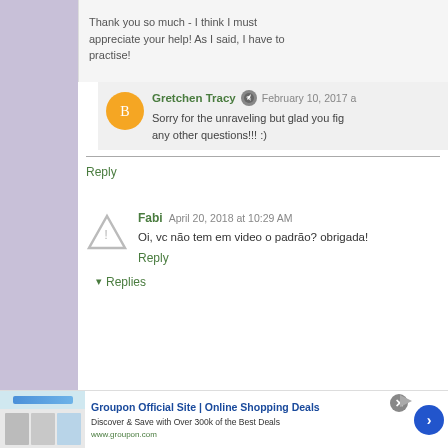Thank you so much - I think I must appreciate your help! As I said, I have to practise!
Gretchen Tracy  February 10, 2017
Sorry for the unraveling but glad you figured it out! Feel free to ask if you have any other questions!!! :)
Reply
Fabi  April 20, 2018 at 10:29 AM
Oi, vc não tem em video o padrão? obrigada!
Reply
▾ Replies
Groupon Official Site | Online Shopping Deals
Discover & Save with Over 300k of the Best Deals
www.groupon.com